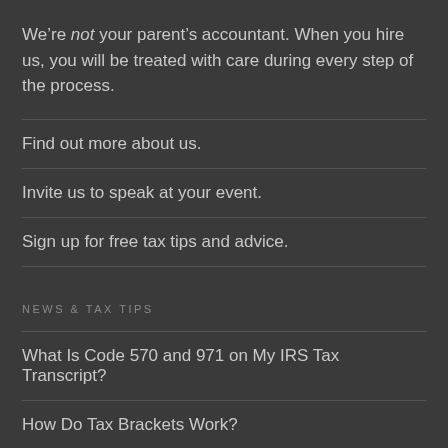We're not your parent's accountant. When you hire us, you will be treated with care during every step of the process.
Find out more about us.
Invite us to speak at your event.
Sign up for free tax tips and advice.
NEWS & TAX TIPS
What Is Code 570 and 971 on My IRS Tax Transcript?
How Do Tax Brackets Work?